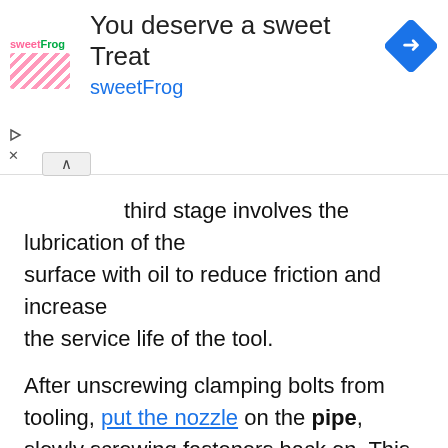[Figure (screenshot): SweetFrog advertisement banner with logo, headline 'You deserve a sweet Treat', brand name 'sweetFrog', and a blue navigation/directions icon]
third stage involves the lubrication of the surface with oil to reduce friction and increase the service life of the tool.
After unscrewing clamping bolts from tooling, put the nozzle on the pipe, slowly screwing fasteners back on. This step is necessary to fix the guides in place.
After installing the cutting parts and through a slight pressure on the levers begin to twist the tool in a clockwise direction, achieving a